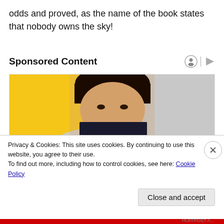odds and proved, as the name of the book states that nobody owns the sky!
Sponsored Content
[Figure (photo): Person holding a book by Yuval Noah Harari (Homo...) in front of their face, with yellow and grey background]
Privacy & Cookies: This site uses cookies. By continuing to use this website, you agree to their use.
To find out more, including how to control cookies, see here: Cookie Policy
Close and accept